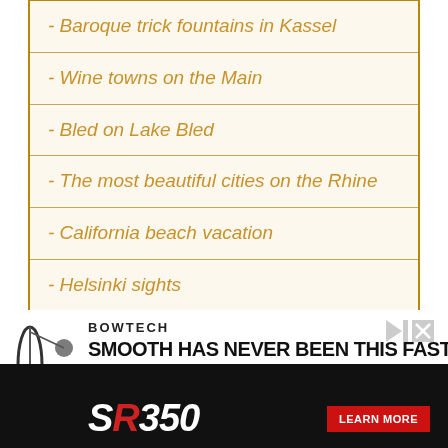- Baroque trick fountains in Kassel
- Wine towns on the Main
- Bled on Lake Bled
- The most beautiful cities on the Rhine
- California beach vacation
- Helsinki sights
- Aachen sights
- Miami in December / January
[Figure (advertisement): Bowtech SR350 bow advertisement. Black background with bow image on left, text 'BOWTECH', 'SMOOTH HAS NEVER BEEN THIS FAST.' and 'SR350' with red accents and a 'LEARN MORE' button.]